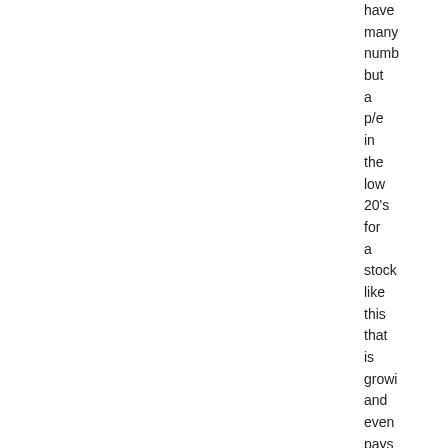have many numb but a p/e in the low 20's for a stock like this that is growing and even pays a divide appears reaso imho. Finally the